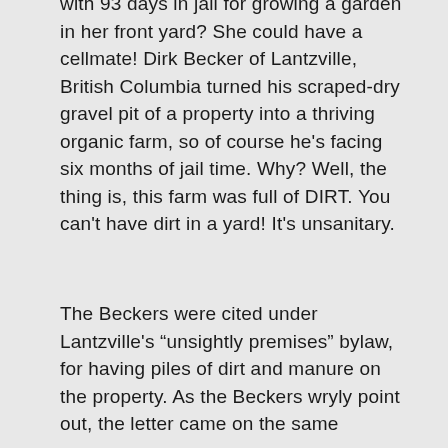Hey, remember the woman threatened with 93 days in jail for growing a garden in her front yard? She could have a cellmate! Dirk Becker of Lantzville, British Columbia turned his scraped-dry gravel pit of a property into a thriving organic farm, so of course he's facing six months of jail time. Why? Well, the thing is, this farm was full of DIRT. You can't have dirt in a yard! It's unsanitary.
The Beckers were cited under Lantzville's “unsightly premises” bylaw, for having piles of dirt and manure on the property. As the Beckers wryly point out, the letter came on the same